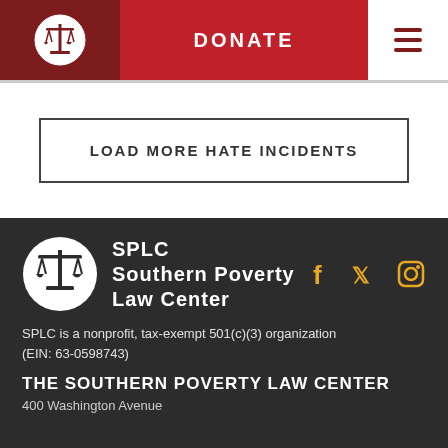DONATE
LOAD MORE HATE INCIDENTS
[Figure (logo): SPLC Southern Poverty Law Center logo with scales of justice icon, social media icons for Facebook, Twitter, Instagram]
SPLC is a nonprofit, tax-exempt 501(c)(3) organization (EIN: 63-0598743)
THE SOUTHERN POVERTY LAW CENTER
400 Washington Avenue